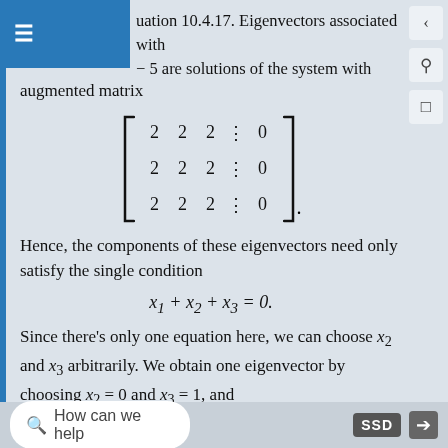uation 10.4.17. Eigenvectors associated with −5 are solutions of the system with augmented matrix
Hence, the components of these eigenvectors need only satisfy the single condition
Since there's only one equation here, we can choose x₂ and x₃ arbitrarily. We obtain one eigenvector by choosing x₂ = 0 and x₃ = 1, and